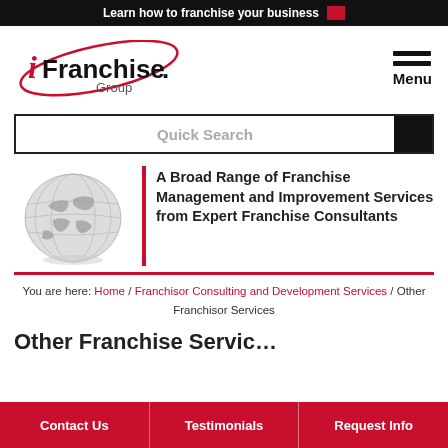Learn how to franchise your business
[Figure (logo): iFranchise Group logo with swirl graphic and text 'Franchise Consultants']
Menu
Quick Search
[Figure (illustration): Grayscale globe/world image]
A Broad Range of Franchise Management and Improvement Services from Expert Franchise Consultants
You are here: Home / Franchisor Consulting and Development Services / Other Franchisor Services
Other Franchise Services
Contact Us | Testimonials | Request Info